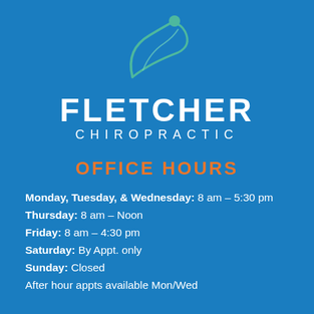[Figure (logo): Fletcher Chiropractic logo — teal/green stylized figure with circular swoosh above the text]
FLETCHER CHIROPRACTIC
OFFICE HOURS
Monday, Tuesday, & Wednesday: 8 am – 5:30 pm
Thursday: 8 am – Noon
Friday: 8 am – 4:30 pm
Saturday: By Appt. only
Sunday: Closed
After hour appts available Mon/Wed